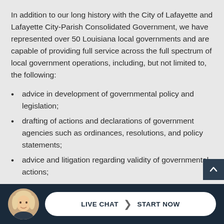In addition to our long history with the City of Lafayette and Lafayette City-Parish Consolidated Government, we have represented over 50 Louisiana local governments and are capable of providing full service across the full spectrum of local government operations, including, but not limited to, the following:
advice in development of governmental policy and legislation;
drafting of actions and declarations of government agencies such as ordinances, resolutions, and policy statements;
advice and litigation regarding validity of governmental actions;
representation of local governments in tort claims and litigation, including police liability, intersection and railroad crossings,